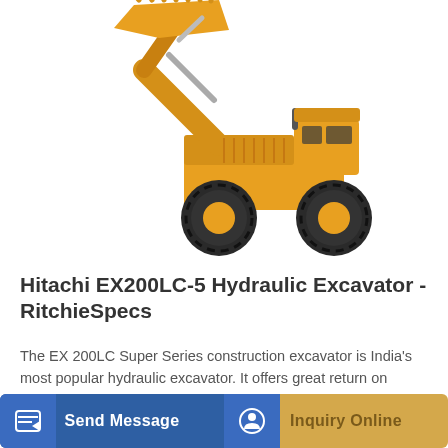[Figure (photo): Yellow Hitachi EX200LC-5 hydraulic excavator / wheel loader with large front bucket raised, shown on white background]
Hitachi EX200LC-5 Hydraulic Excavator - RitchieSpecs
The EX 200LC Super Series construction excavator is India's most popular hydraulic excavator. It offers great return on investment. These machines are equipped with superior...